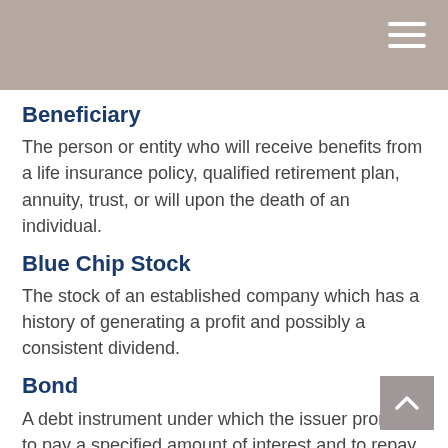Beneficiary
The person or entity who will receive benefits from a life insurance policy, qualified retirement plan, annuity, trust, or will upon the death of an individual.
Blue Chip Stock
The stock of an established company which has a history of generating a profit and possibly a consistent dividend.
Bond
A debt instrument under which the issuer promises to pay a specified amount of interest and to repay the principal at maturity. The market value of a bond will fluctuate with changes in interest rates. As rates rise, the value of existing bonds typically falls. If an investor sells a bond before maturity, it may be worth more or